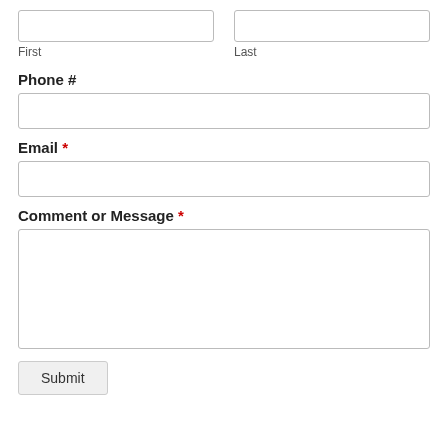First
Last
Phone #
Email *
Comment or Message *
Submit